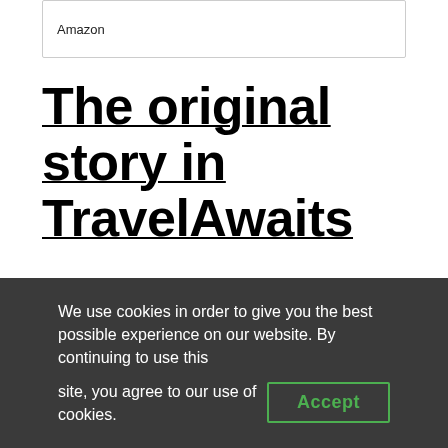Amazon
The original story in TravelAwaits
Hotel Reservation
We use cookies in order to give you the best possible experience on our website. By continuing to use this site, you agree to our use of cookies.